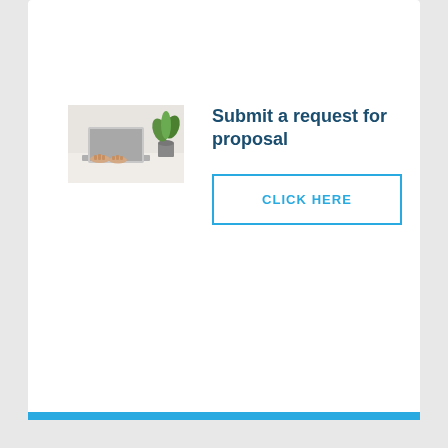[Figure (photo): Photo of hands typing on a laptop on a white desk with a small green plant in the background]
Submit a request for proposal
CLICK HERE